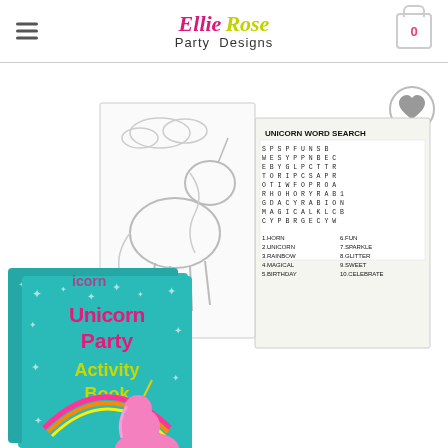Ellie Rose Party Designs — navigation header with hamburger menu and cart icon showing 0
[Figure (photo): Product photo showing two Unicorn Party Activity Books: one open displaying a unicorn coloring page and a Unicorn Word Search puzzle page with a letter grid and word list, and one closed showing the teal cover with stars and pink unicorn illustration with text 'Unicorn Party Activity Book'. A circular wishlist heart button appears in the top-right corner of the image.]